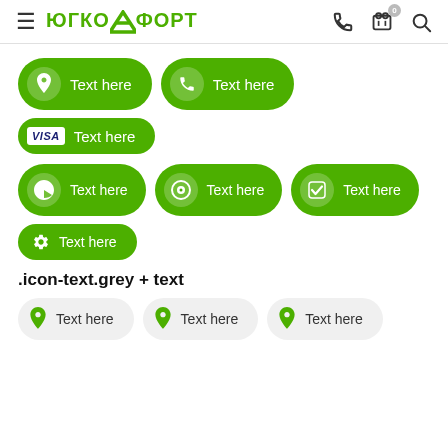ЮГкомфорт navigation header with hamburger menu, logo, phone, cart (0), search icons
[Figure (screenshot): Row of green rounded pill buttons with icons: location pin + Text here, phone + Text here]
[Figure (screenshot): Green pill button with VISA logo + Text here]
[Figure (screenshot): Row of green pill buttons: pie chart + Text here, target + Text here, checkbox + Text here]
[Figure (screenshot): Green pill button with gear icon + Text here]
.icon-text.grey + text
[Figure (screenshot): Row of three grey rounded pill buttons each with green location pin icon + Text here]